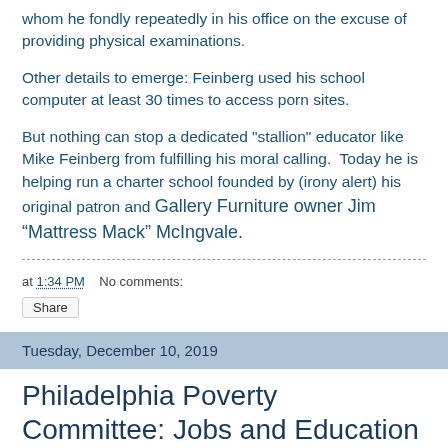whom he fondly repeatedly in his office on the excuse of providing physical examinations.
Other details to emerge: Feinberg used his school computer at least 30 times to access porn sites.
But nothing can stop a dedicated "stallion" educator like Mike Feinberg from fulfilling his moral calling.  Today he is helping run a charter school founded by (irony alert) his original patron and Gallery Furniture owner Jim “Mattress Mack” McIngvale.
at 1:34 PM    No comments:
Share
Tuesday, December 10, 2019
Philadelphia Poverty Committee: Jobs and Education Hearing 120519